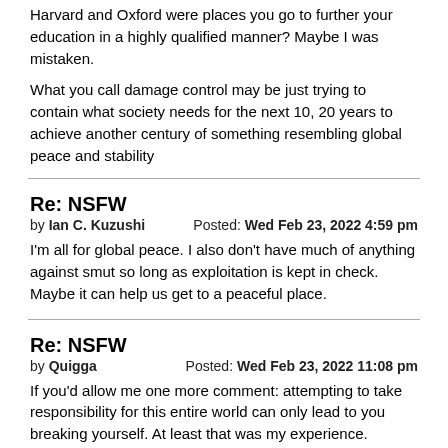Harvard and Oxford were places you go to further your education in a highly qualified manner? Maybe I was mistaken.
What you call damage control may be just trying to contain what society needs for the next 10, 20 years to achieve another century of something resembling global peace and stability
Re: NSFW
by Ian C. Kuzushi   Posted: Wed Feb 23, 2022 4:59 pm
I'm all for global peace. I also don't have much of anything against smut so long as exploitation is kept in check. Maybe it can help us get to a peaceful place.
Re: NSFW
by Quigga   Posted: Wed Feb 23, 2022 11:08 pm
If you'd allow me one more comment: attempting to take responsibility for this entire world can only lead to you breaking yourself. At least that was my experience.
Re: NSFW